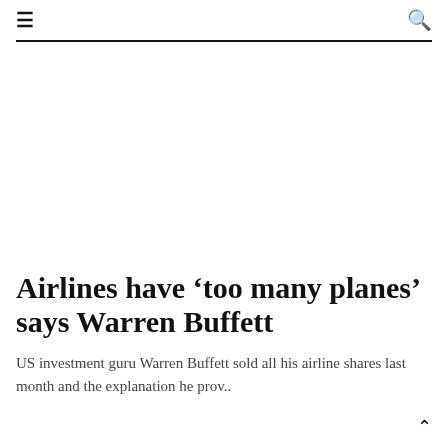≡  🔍
Airlines have ‘too many planes’ says Warren Buffett
US investment guru Warren Buffett sold all his airline shares last month and the explanation he prov..